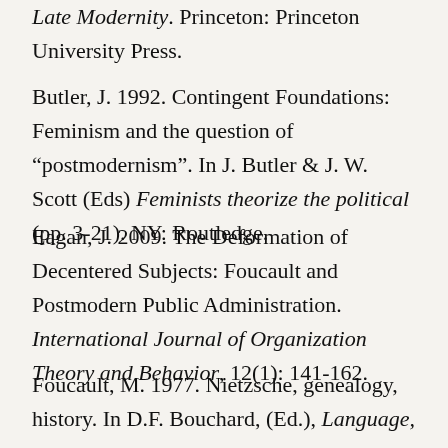Late Modernity. Princeton: Princeton University Press.
Butler, J. 1992. Contingent Foundations: Feminism and the question of “postmodernism”. In J. Butler & J. W. Scott (Eds) Feminists theorize the political (pp. 3-21). NY: Routledge.
Eagan, J. 2009. The Deformation of Decentered Subjects: Foucault and Postmodern Public Administration. International Journal of Organization Theory and Behavior, 12(1): 141-162.
Foucault, M. 1977. Nietzsche, genealogy, history. In D.F. Bouchard, (Ed.), Language, counter-memory, practice: Selected essays and interviews (pp. 139-164).